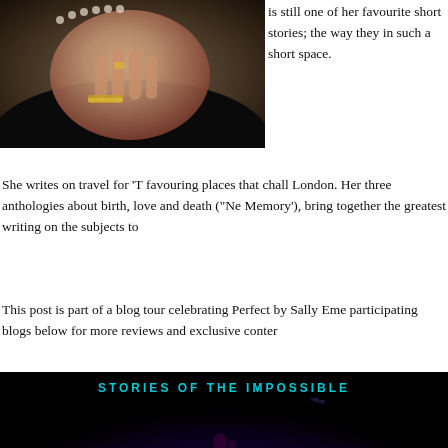[Figure (photo): Close-up photo of a woman's hands clasped together, wearing a ring and a bracelet, dressed in black, with pearl necklace visible.]
is still one of her favourite short stories; the way they in such a short space.
She writes on travel for 'T favouring places that chall London. Her three anthologies about birth, love and death ("Ne Memory'), bring together the greatest writing on the subjects to
This post is part of a blog tour celebrating Perfect by Sally Eme participating blogs below for more reviews and exclusive conter
[Figure (illustration): Dark book cover image with text 'STORIES OF THE IMPOSSIBLE' in teal/cyan letters at top, with a glowing blue-purple mystical scene showing a silhouetted figure and a bird against dark background.]